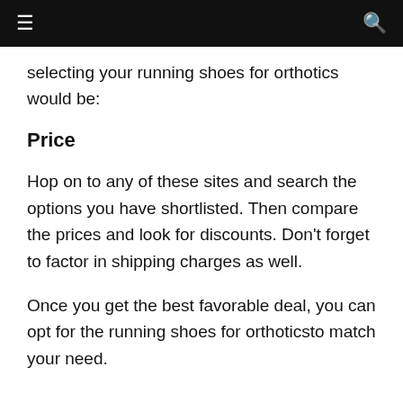≡  🔍
selecting your running shoes for orthotics would be:
Price
Hop on to any of these sites and search the options you have shortlisted. Then compare the prices and look for discounts. Don't forget to factor in shipping charges as well.
Once you get the best favorable deal, you can opt for the running shoes for orthoticsto match your need.